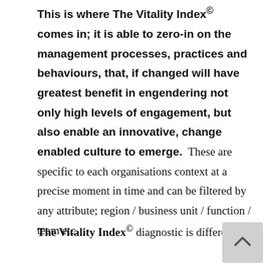This is where The Vitality Index® comes in; it is able to zero-in on the management processes, practices and behaviours, that, if changed will have greatest benefit in engendering not only high levels of engagement, but also enable an innovative, change enabled culture to emerge. These are specific to each organisations context at a precise moment in time and can be filtered by any attribute; region / business unit / function / team etc.
The Vitality Index® diagnostic is different t